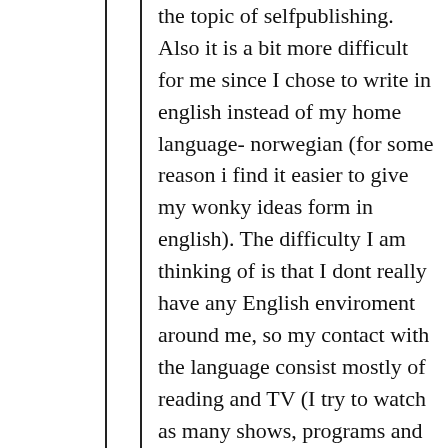the topic of selfpublishing. Also it is a bit more difficult for me since I chose to write in english instead of my home language- norwegian (for some reason i find it easier to give my wonky ideas form in english). The difficulty I am thinking of is that I dont really have any English enviroment around me, so my contact with the language consist mostly of reading and TV (I try to watch as many shows, programs and documentaries as possible as well as read a lot) But since most of that is scripted, real-life dialogues are not really something that is easy to find for me. So that makes me a